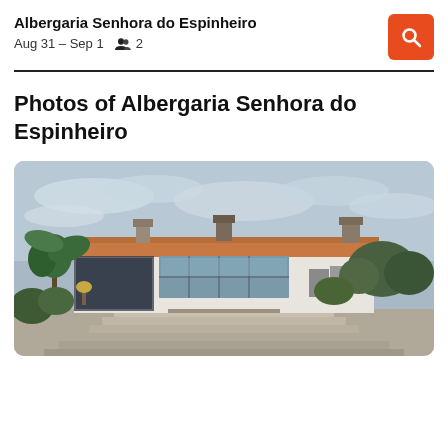Albergaria Senhora do Espinheiro
Aug 31 – Sep 1   2
Photos of Albergaria Senhora do Espinheiro
[Figure (photo): Exterior photo of Albergaria Senhora do Espinheiro hotel building with stone steps leading up to the entrance, large glass windows, terra cotta roof tiles, decorative chimneys, surrounded by palm trees and shrubs, under a cloudy sky.]